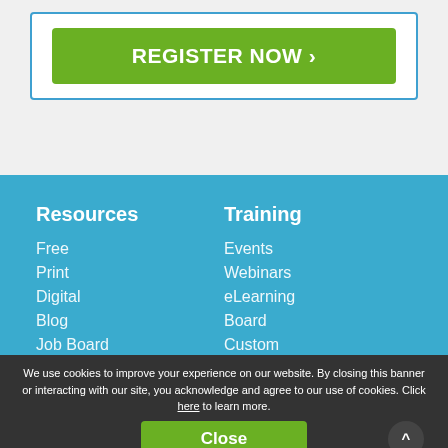[Figure (other): Green REGISTER NOW button inside a white bordered box on a light gray background]
Resources
Free
Print
Digital
Blog
Job Board
Training
Events
Webinars
eLearning
Board
Custom
We use cookies to improve your experience on our website. By closing this banner or interacting with our site, you acknowledge and agree to our use of cookies. Click here to learn more.
Close